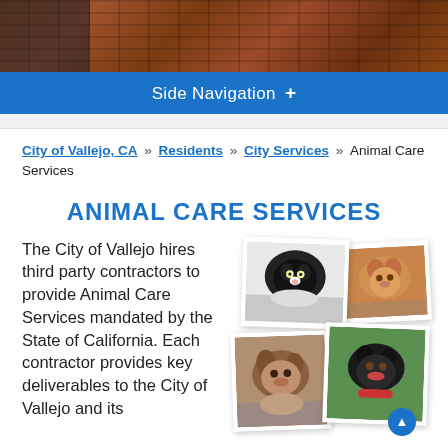[Figure (photo): Header photo of brick wall/building exterior with dark area on left side]
Side Navigation +
City of Vallejo, CA » Residents » City Services » Animal Care Services
ANIMAL CARE SERVICES
The City of Vallejo hires third party contractors to provide Animal Care Services mandated by the State of California. Each contractor provides key deliverables to the City of Vallejo and its
[Figure (photo): Collage of four animal photos: black and white cat, orange cat, brown dog, black dog with bandana]